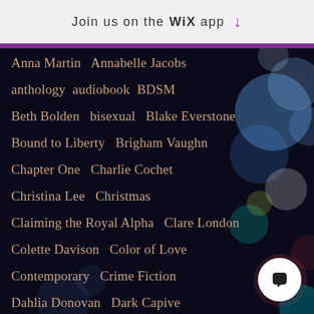Join us on the WiX app
Anna Martin   Annabelle Jacobs
anthology   audiobook   BDSM
Beth Bolden   bisexual   Blake Everstone
Bound to Liberty   Brigham Vaughn
Chapter One   Charlie Cochet
Christina Lee   Christmas
Claiming the Royal Alpha   Clare London
Colette Davison   Color of Love
Contemporary   Crime Fiction
Dahlia Donovan   Dark Capive
Dark Romance   DJ Jamison
Doris O'Connor   Duce   eBook   ED R...
Elodie Parkes   Elyzabeth Valey   er...
Eth... St...   F...ight P...bli...